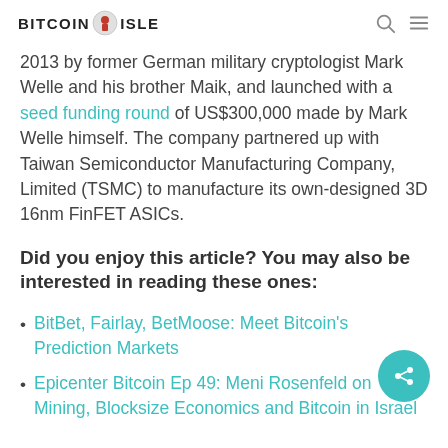BITCOIN ISLE
2013 by former German military cryptologist Mark Welle and his brother Maik, and launched with a seed funding round of US$300,000 made by Mark Welle himself. The company partnered up with Taiwan Semiconductor Manufacturing Company, Limited (TSMC) to manufacture its own-designed 3D 16nm FinFET ASICs.
Did you enjoy this article? You may also be interested in reading these ones:
BitBet, Fairlay, BetMoose: Meet Bitcoin's Prediction Markets
Epicenter Bitcoin Ep 49: Meni Rosenfeld on Mining, Blocksize Economics and Bitcoin in Israel